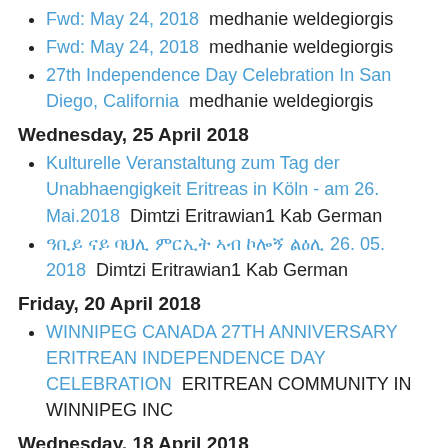Fwd: May 24, 2018  medhanie weldegiorgis
Fwd: May 24, 2018  medhanie weldegiorgis
27th Independence Day Celebration In San Diego, California  medhanie weldegiorgis
Wednesday, 25 April 2018
Kulturelle Veranstaltung zum Tag der Unabhaengigkeit Eritreas in Köln - am 26. Mai.2018  Dimtzi Eritrawian1 Kab German
ዓቢይ ናይ ባህሊ ምርኢት ኣብ ኮሎኝ ልዕሊ 26. 05. 2018  Dimtzi Eritrawian1 Kab German
Friday, 20 April 2018
WINNIPEG CANADA 27TH ANNIVERSARY ERITREAN INDEPENDENCE DAY CELEBRATION  ERITREAN COMMUNITY IN WINNIPEG INC
Wednesday, 18 April 2018
BENEFIZKONZERT IN FRANKFURT: ROBERTO TASCINI/ GITARRE + SPECIAL